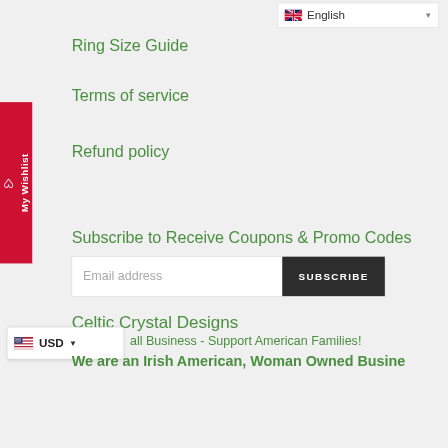[Figure (screenshot): Language selector dropdown showing English with UK flag]
Ring Size Guide
Terms of service
[Figure (other): My Wishlist red vertical sidebar tab with heart icon]
Refund policy
Subscribe to Receive Coupons & Promo Codes
Email address
SUBSCRIBE
Celtic Crystal Designs
[Figure (other): USD currency selector with US flag]
all Business - Support American Families!
We are an Irish American, Woman Owned Busine...